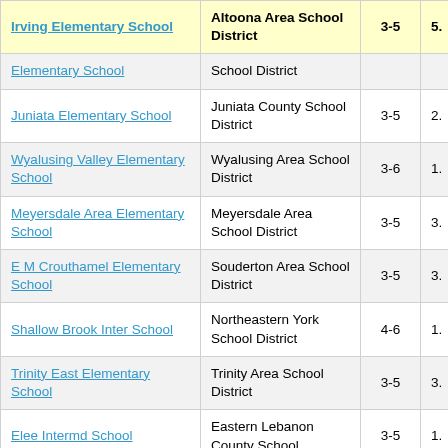| School | District | Grades | Score |
| --- | --- | --- | --- |
| Irving Elementary School | Altoona Area School District | 3-5 | 5. |
| Elementary School | School District |  |  |
| Juniata Elementary School | Juniata County School District | 3-5 | 2. |
| Wyalusing Valley Elementary School | Wyalusing Area School District | 3-6 | 1. |
| Meyersdale Area Elementary School | Meyersdale Area School District | 3-5 | 3. |
| E M Crouthamel Elementary School | Souderton Area School District | 3-5 | 3. |
| Shallow Brook Inter School | Northeastern York School District | 4-6 | 1. |
| Trinity East Elementary School | Trinity Area School District | 3-5 | 3. |
| Elee Intermd School | Eastern Lebanon County School | 3-5 | 1. |